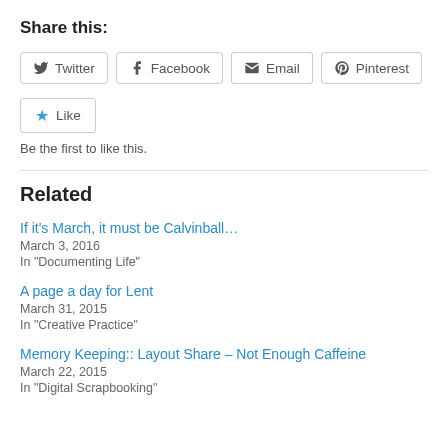Share this:
[Figure (other): Share buttons row: Twitter, Facebook, Email, Pinterest]
[Figure (other): Like button with star icon]
Be the first to like this.
Related
If it's March, it must be Calvinball…
March 3, 2016
In "Documenting Life"
A page a day for Lent
March 31, 2015
In "Creative Practice"
Memory Keeping:: Layout Share – Not Enough Caffeine
March 22, 2015
In "Digital Scrapbooking"